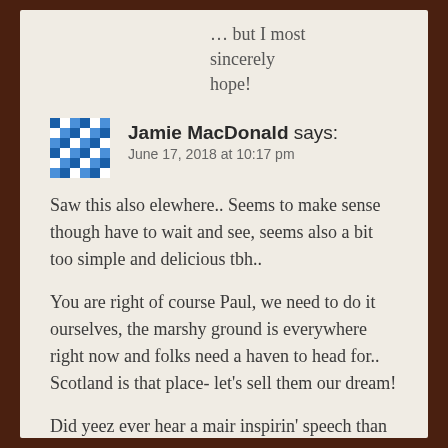… but I most sincerely hope!
Jamie MacDonald says:
June 17, 2018 at 10:17 pm
Saw this also elewhere.. Seems to make sense though have to wait and see, seems also a bit too simple and delicious tbh..
You are right of course Paul, we need to do it ourselves, the marshy ground is everywhere right now and folks need a haven to head for.. Scotland is that place- let's sell them our dream!
Did yeez ever hear a mair inspirin' speech than this fae James Maxton in the1920's..